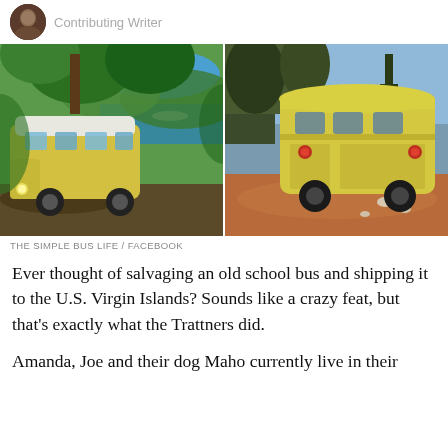Contributing Writer
[Figure (photo): Two photos side by side of a vintage yellow school bus. Left photo: yellow bus parked on a lush tropical hillside with green trees and blue water visible in background. Right photo: rear view of same yellow bus on a red dirt road surrounded by trees.]
THE SIMPLE BUS LIFE / FACEBOOK
Ever thought of salvaging an old school bus and shipping it to the U.S. Virgin Islands? Sounds like a crazy feat, but that's exactly what the Trattners did.
Amanda, Joe and their dog Maho currently live in their